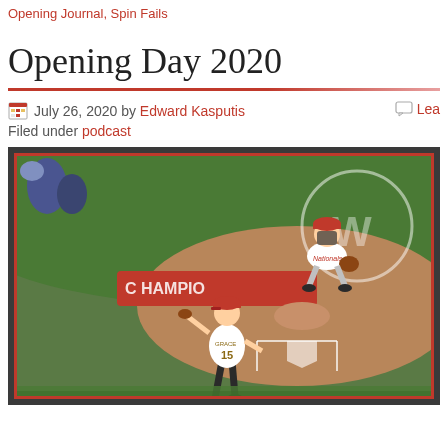Opening Journal, Spin Fails
Opening Day 2020
July 26, 2020 by Edward Kasputis
Filed under podcast
[Figure (photo): Baseball field photo showing a player in white Nationals uniform crouching at home plate, and another player in a white jersey with red cap throwing a pitch. The field has red 'CHAMPIONS' text visible on the warning track. The photo is framed with a dark border and red inner border.]